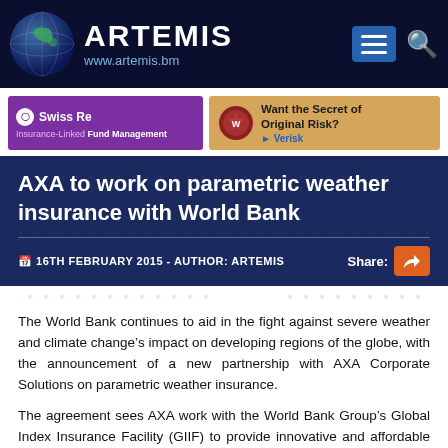ARTEMIS www.artemis.bm
[Figure (screenshot): Swiss Re Insurance-Linked Fund Management advertisement banner (purple background)]
[Figure (screenshot): Verisk advertisement banner: Want the Secret of Original Risk? (tan/gold background with wax seal image)]
AXA to work on parametric weather insurance with World Bank
16TH FEBRUARY 2015 - AUTHOR: ARTEMIS   Share:
The World Bank continues to aid in the fight against severe weather and climate change’s impact on developing regions of the globe, with the announcement of a new partnership with AXA Corporate Solutions on parametric weather insurance.
The agreement sees AXA work with the World Bank Group’s Global Index Insurance Facility (GIIF) to provide innovative and affordable parametric and weather-index linked insurance protection for the world’s most vulnerable, developing regions